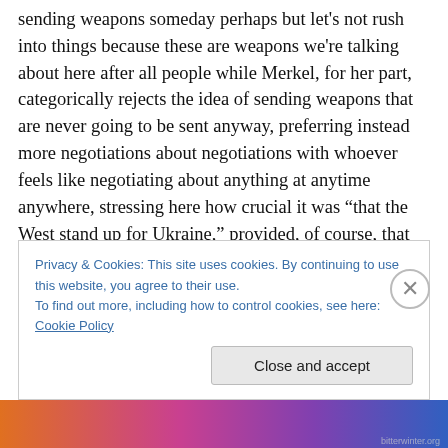sending weapons someday perhaps but let's not rush into things because these are weapons we're talking about here after all people while Merkel, for her part, categorically rejects the idea of sending weapons that are never going to be sent anyway, preferring instead more negotiations about negotiations with whoever feels like negotiating about anything at anytime anywhere, stressing here how crucial it was “that the West stand up for Ukraine,” provided, of course, that this remain a purely figurative expression devoid of anything that could even remotely be interpreted as meaning “like actually standing
Privacy & Cookies: This site uses cookies. By continuing to use this website, you agree to their use.
To find out more, including how to control cookies, see here: Cookie Policy
Close and accept